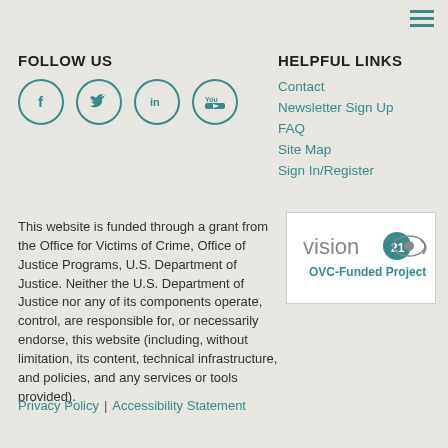FOLLOW US
[Figure (illustration): Social media icons in teal circles: Facebook (f), Twitter (bird), LinkedIn (in), YouTube (play button with 'You' text)]
HELPFUL LINKS
Contact
Newsletter Sign Up
FAQ
Site Map
Sign In/Register
This website is funded through a grant from the Office for Victims of Crime, Office of Justice Programs, U.S. Department of Justice. Neither the U.S. Department of Justice nor any of its components operate, control, are responsible for, or necessarily endorse, this website (including, without limitation, its content, technical infrastructure, and policies, and any services or tools provided).
[Figure (logo): Vision 21 OVC-Funded Project logo]
Privacy Policy | Accessibility Statement